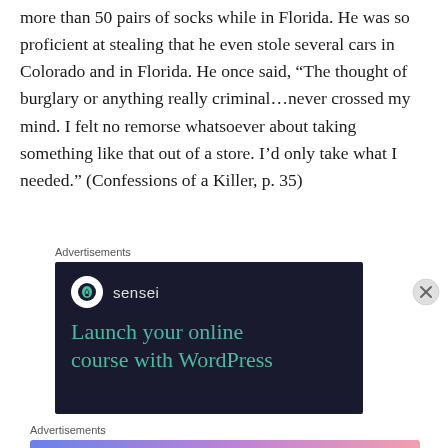more than 50 pairs of socks while in Florida.  He was so proficient at stealing that he even stole several cars in Colorado and in Florida.  He once said, “The thought of burglary or anything really criminal…never crossed my mind.  I felt no remorse whatsoever about taking something like that out of a store.  I’d only take what I needed.” (Confessions of a Killer, p. 35)
Advertisements
[Figure (other): Advertisement banner for Sensei — dark navy background with Sensei logo (tree icon in white circle) and text: 'Launch your online course with WordPress' in teal/green color]
Advertisements
[Figure (other): Advertisement banner for WordPress.com with gradient background (blue to pink). Text: 'Simplified pricing for everything you need.' with WordPress.com logo on the right.]